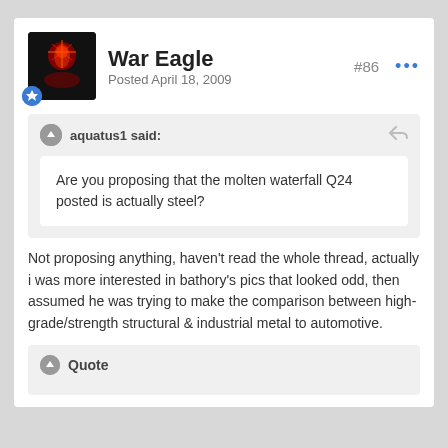War Eagle
Posted April 18, 2009
#86
aquatus1 said:
Quote
Are you proposing that the molten waterfall Q24 posted is actually steel?
Not proposing anything, haven't read the whole thread, actually i was more interested in bathory's pics that looked odd, then assumed he was trying to make the comparison between high-grade/strength structural & industrial metal to automotive.
Quote